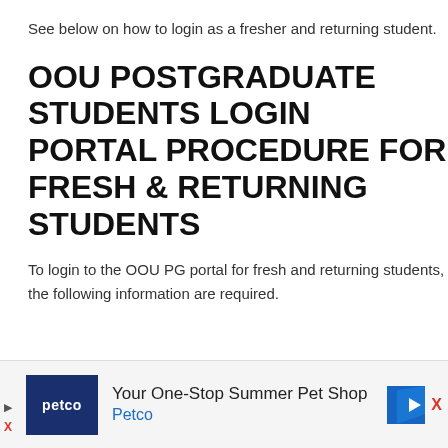See below on how to login as a fresher and returning student.
OOU POSTGRADUATE STUDENTS LOGIN PORTAL PROCEDURE FOR FRESH & RETURNING STUDENTS
To login to the OOU PG portal for fresh and returning students, the following information are required.
[Figure (infographic): Advertisement banner for Petco: 'Your One-Stop Summer Pet Shop' with Petco logo and blue Petco text, close buttons and play icon.]